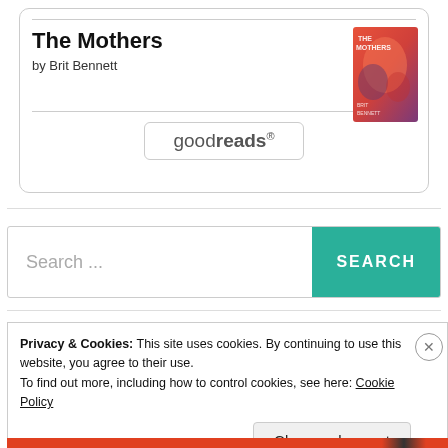The Mothers
by Brit Bennett
[Figure (illustration): Book cover of 'The Mothers' by Brit Bennett — colorful abstract cover with red, orange, and purple tones]
goodreads®
Search ...
SEARCH
Privacy & Cookies: This site uses cookies. By continuing to use this website, you agree to their use.
To find out more, including how to control cookies, see here: Cookie Policy
Close and accept